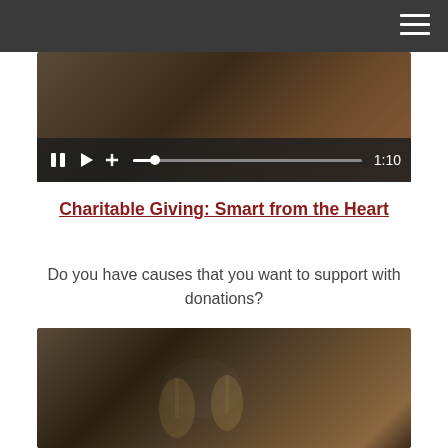[Figure (screenshot): Navigation bar with dark gray background and hamburger menu icon in top right]
[Figure (screenshot): Video player screenshot showing a dark wooden surface with media controls at bottom including pause, play, volume icons and progress bar showing 1:10 timestamp]
Charitable Giving: Smart from the Heart
Do you have causes that you want to support with donations?
[Figure (photo): Photo of people clinking champagne glasses at an outdoor gathering, blurred background]